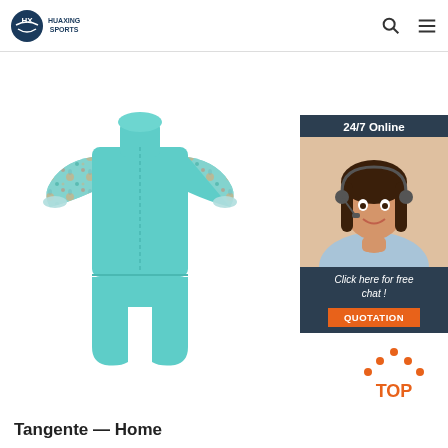HUAXING SPORTS
[Figure (photo): Children's short-sleeve wetsuit in teal/aqua color with floral patterned sleeves, displayed flat on white background]
[Figure (infographic): 24/7 Online chat widget with customer service representative photo, 'Click here for free chat!' text, and orange QUOTATION button]
[Figure (infographic): TOP button with orange dots forming a house/chevron shape above the word TOP in orange]
Tangente — Home